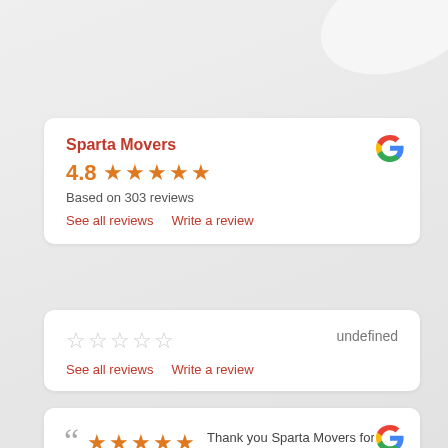[Figure (screenshot): White card showing Sparta Movers Google review summary: 4.8 stars, based on 303 reviews, with links to See all reviews and Write a review. Google G logo in top-right.]
[Figure (screenshot): White card showing empty star rating (undefined), with links to See all reviews and Write a review.]
[Figure (screenshot): White card showing a 5-star review excerpt: quotation mark, 5 orange stars, and text 'Thank you Sparta Movers for your outstanding work. The scope of the job went'. Google G logo in top-right.]